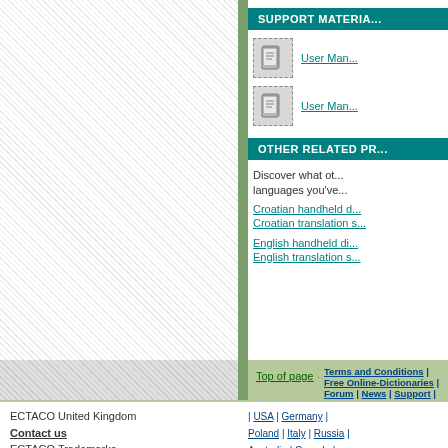SUPPORT MATERIA...
User Man...
User Man...
OTHER RELATED PR...
Discover what other products... languages you've...
Croatian handheld d...
Croatian translation s...
English handheld di...
English translation s...
Top of page | Terms and Conditions | Free Online-Dictionaries | Forum | News | Support | Your Account | Home
© Copyright 1990-2022 ECTACO, Inc. All rights reserved.
ECTACO United Kingdom
Contact us
ECTACO Trademarks
| USA | Germany | Poland | Italy | Russia | Australia | Canada |